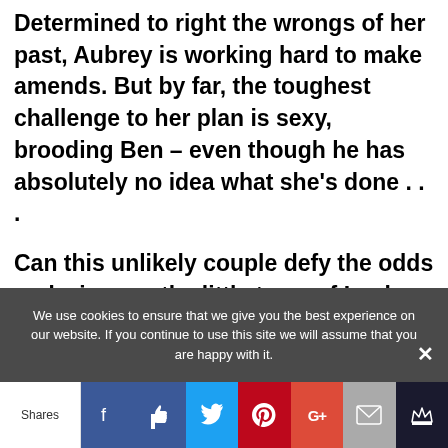Determined to right the wrongs of her past, Aubrey is working hard to make amends. But by far, the toughest challenge to her plan is sexy, brooding Ben – even though he has absolutely no idea what she's done . . .
Can this unlikely couple defy the odds and win over the little town of Lucky Harbor?
We use cookies to ensure that we give you the best experience on our website. If you continue to use this site we will assume that you are happy with it.